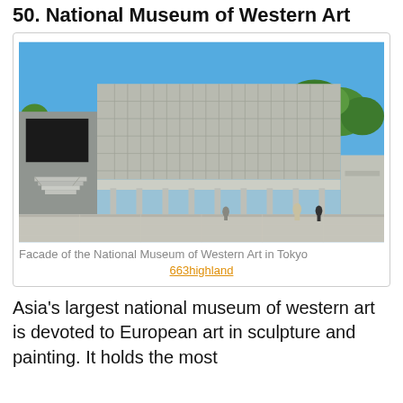50. National Museum of Western Art
[Figure (photo): Facade of the National Museum of Western Art in Tokyo — a Brutalist concrete building with a gridded facade, stairs on left, open colonnade at ground level, clear blue sky, green trees on right, people visible in plaza]
Facade of the National Museum of Western Art in Tokyo
663highland
Asia's largest national museum of western art is devoted to European art in sculpture and painting. It holds the most